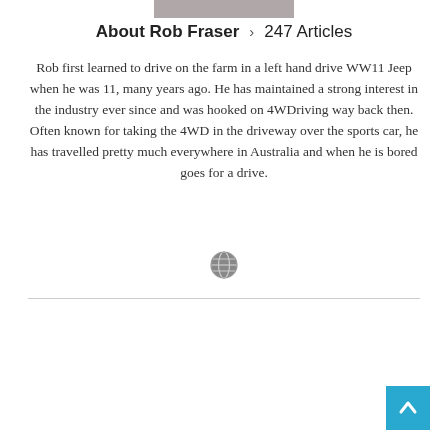[Figure (photo): Partial photo of Rob Fraser at top of page]
About Rob Fraser > 247 Articles
Rob first learned to drive on the farm in a left hand drive WW11 Jeep when he was 11, many years ago. He has maintained a strong interest in the industry ever since and was hooked on 4WDriving way back then. Often known for taking the 4WD in the driveway over the sports car, he has travelled pretty much everywhere in Australia and when he is bored goes for a drive.
[Figure (illustration): Small globe/world icon]
[Figure (illustration): Back to top button - blue square with upward arrow]